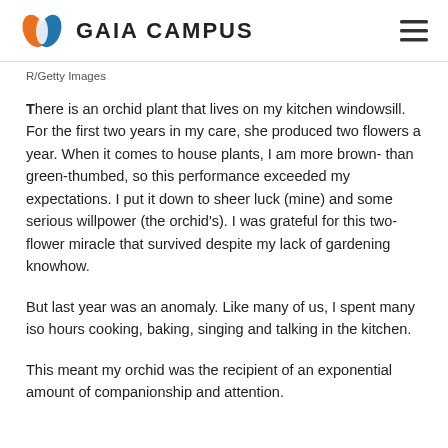GAIA CAMPUS
R/Getty Images
There is an orchid plant that lives on my kitchen windowsill. For the first two years in my care, she produced two flowers a year. When it comes to house plants, I am more brown- than green-thumbed, so this performance exceeded my expectations. I put it down to sheer luck (mine) and some serious willpower (the orchid's). I was grateful for this two-flower miracle that survived despite my lack of gardening knowhow.
But last year was an anomaly. Like many of us, I spent many iso hours cooking, baking, singing and talking in the kitchen.
This meant my orchid was the recipient of an exponential amount of companionship and attention.